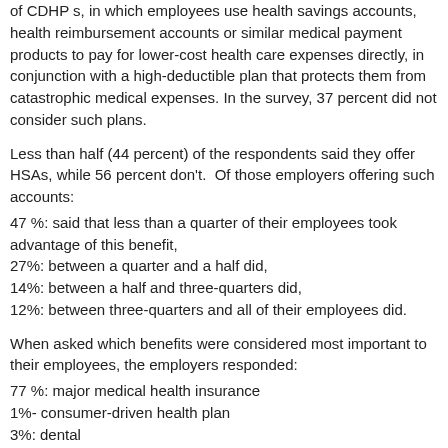of CDHP s, in which employees use health savings accounts, health reimbursement accounts or similar medical payment products to pay for lower-cost health care expenses directly, in conjunction with a high-deductible plan that protects them from catastrophic medical expenses. In the survey, 37 percent did not consider such plans.
Less than half (44 percent) of the respondents said they offer HSAs, while 56 percent don't. Of those employers offering such accounts:
47 %: said that less than a quarter of their employees took advantage of this benefit,
27%: between a quarter and a half did,
14%: between a half and three-quarters did,
12%: between three-quarters and all of their employees did.
When asked which benefits were considered most important to their employees, the employers responded:
77 %: major medical health insurance
1%- consumer-driven health plan
3%: dental
2%: life insurance
2%: executive benefits